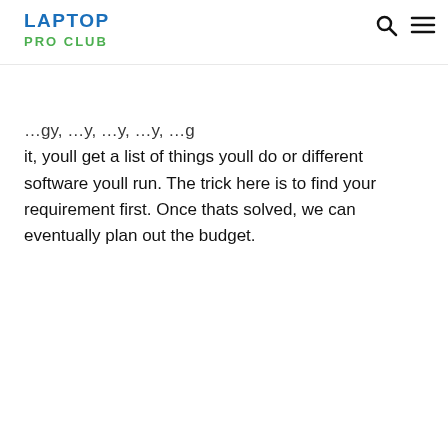LAPTOP PRO CLUB
it, youll get a list of things youll do or different software youll run. The trick here is to find your requirement first. Once thats solved, we can eventually plan out the budget.